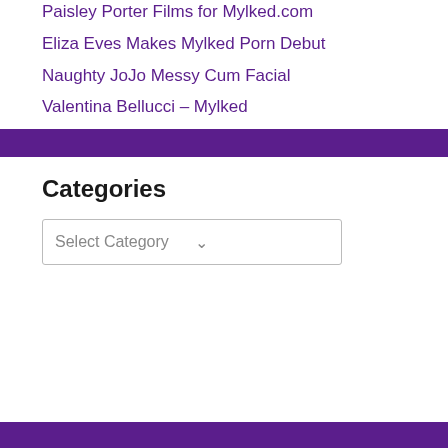Paisley Porter Films for Mylked.com
Eliza Eves Makes Mylked Porn Debut
Naughty JoJo Messy Cum Facial
Valentina Bellucci – Mylked
Categories